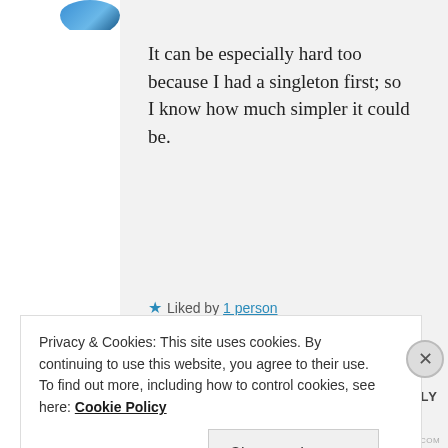It can be especially hard too because I had a singleton first; so I know how much simpler it could be.
★ Liked by 1 person
MAY 3, 2016 AT 1:03 AM
↩ REPLY
Privacy & Cookies: This site uses cookies. By continuing to use this website, you agree to their use.
To find out more, including how to control cookies, see here: Cookie Policy
Close and accept